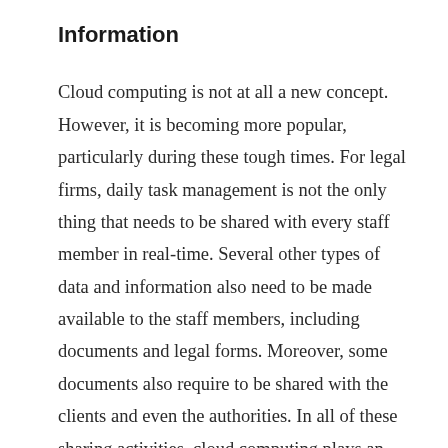Information
Cloud computing is not at all a new concept. However, it is becoming more popular, particularly during these tough times. For legal firms, daily task management is not the only thing that needs to be shared with every staff member in real-time. Several other types of data and information also need to be made available to the staff members, including documents and legal forms. Moreover, some documents also require to be shared with the clients and even the authorities. In all of these sharing activities, cloud computing plays an important role. So much so that several legal firms are now purchasing or leasing devices to be shared for their...